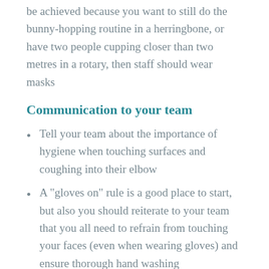be achieved because you want to still do the bunny-hopping routine in a herringbone, or have two people cupping closer than two metres in a rotary, then staff should wear masks
Communication to your team
Tell your team about the importance of hygiene when touching surfaces and coughing into their elbow
A "gloves on" rule is a good place to start, but also you should reiterate to your team that you all need to refrain from touching your faces (even when wearing gloves) and ensure thorough hand washing